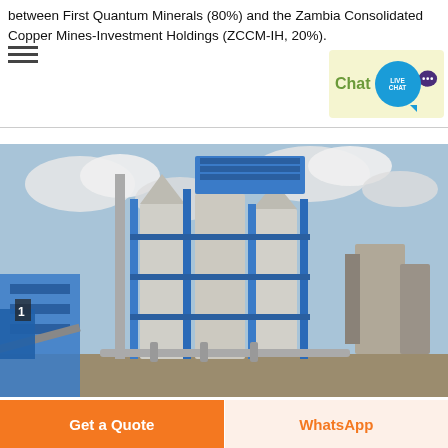between First Quantum Minerals (80%) and the Zambia Consolidated Copper Mines-Investment Holdings (ZCCM-IH, 20%).
[Figure (photo): Industrial mining or processing plant with tall cylindrical silos and blue steel framework structure against a cloudy sky. Blue tarp visible on the left side.]
Get a Quote
WhatsApp